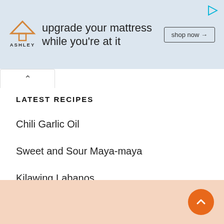[Figure (other): Ashley Furniture advertisement banner with logo, text 'upgrade your mattress while you're at it', and 'shop now →' button on light blue background]
LATEST RECIPES
Chili Garlic Oil
Sweet and Sour Maya-maya
Kilawing Labanos
Pork Binagoongan
Sweet and Sour Canned Tuna